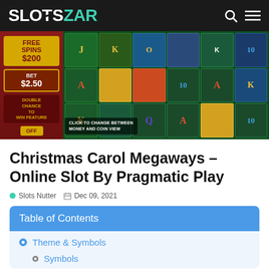SLOTS ZAR
[Figure (screenshot): Christmas Carol Megaways slot game screenshot showing a 6-reel slot with playing card symbols (K, A, Q, 10), character symbols, and golden clock symbols on a green background. Left panel shows FREE SPINS $200, BET $2.50, DOUBLE CHANCE TO WIN FEATURE, and OFF button. Bottom left overlay text says CLICK TO CHANGE BETWEEN MONEY AND COIN VIEW.]
Christmas Carol Megaways – Online Slot By Pragmatic Play
Slots Nutter  Dec 09, 2021
Table of Contents
Theme & Symbols
Symbols